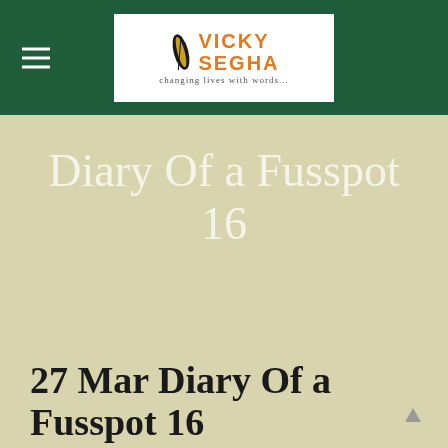Vicky Segha — changing lives with words...
Diary Of a Fusspot 16
27 Mar Diary Of a Fusspot 16